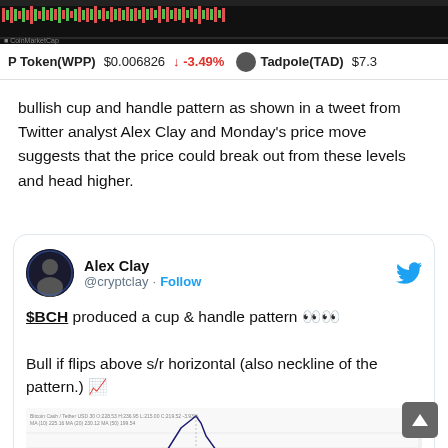[Figure (screenshot): Dark background chart banner showing price/volume data at the top of the page]
P Token(WPP)  $0.006826  ↓ -3.49%  Tadpole(TAD)  $7.3
bullish cup and handle pattern as shown in a tweet from Twitter analyst Alex Clay and Monday's price move suggests that the price could break out from these levels and head higher.
[Figure (screenshot): Embedded tweet from @cryptclay (Alex Clay) saying '$BCH produced a cup & handle pattern 👀 Bull if flips above s/r horizontal (also neckline of the pattern.) 📈' with a partial chart image below]